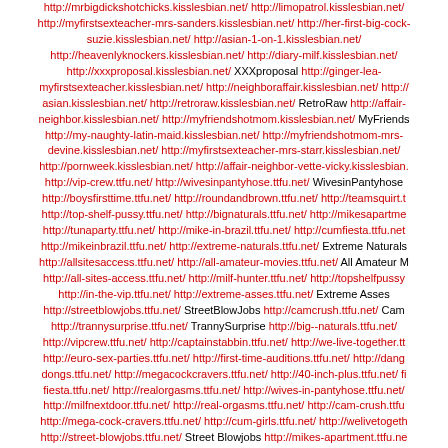http://mrbigdickshotchicks.kisslesbian.net/ http://limopatrol.kisslesbian.net/ http://myfirstsexteacher-mrs-sanders.kisslesbian.net/ http://her-first-big-cock-suzie.kisslesbian.net/ http://asian-1-on-1.kisslesbian.net/ http://heavenlyknockers.kisslesbian.net/ http://diary-milf.kisslesbian.net/ http://xxxproposal.kisslesbian.net/ XXXproposal http://ginger-lea-myfirstsexteacher.kisslesbian.net/ http://neighboraffair.kisslesbian.net/ http://asian.kisslesbian.net/ http://retroraw.kisslesbian.net/ RetroRaw http://affair-neighbor.kisslesbian.net/ http://myfriendshotmom.kisslesbian.net/ MyFriendsHotMom http://my-naughty-latin-maid.kisslesbian.net/ http://myfriendshotmom-mrs-devine.kisslesbian.net/ http://myfirstsexteacher-mrs-starr.kisslesbian.net/ http://pornweek.kisslesbian.net/ http://affair-neighbor-vette-vicky.kisslesbian.net/ http://vip-crew.ttfu.net/ http://wivesinpantyhose.ttfu.net/ WivesinPantyhose http://boysfirsttime.ttfu.net/ http://roundandbrown.ttfu.net/ http://teamsquirt.ttfu.net/ http://top-shelf-pussy.ttfu.net/ http://bignaturals.ttfu.net/ http://mikesapartment.ttfu.net/ http://tunaparty.ttfu.net/ http://mike-in-brazil.ttfu.net/ http://cumfiesta.ttfu.net/ http://mikeinbrazil.ttfu.net/ http://extreme-naturals.ttfu.net/ Extreme Naturals http://allsitesaccess.ttfu.net/ http://all-amateur-movies.ttfu.net/ All Amateur Movies http://all-sites-access.ttfu.net/ http://milf-hunter.ttfu.net/ http://topshelfpussy.ttfu.net/ http://in-the-vip.ttfu.net/ http://extreme-asses.ttfu.net/ Extreme Asses http://streetblowjobs.ttfu.net/ StreetBlowJobs http://camcrush.ttfu.net/ CamCrush http://trannysurprise.ttfu.net/ TrannySurprise http://big--naturals.ttfu.net/ http://vipcrew.ttfu.net/ http://captainstabbin.ttfu.net/ http://we-live-together.ttfu.net/ http://euro-sex-parties.ttfu.net/ http://first-time-auditions.ttfu.net/ http://dangerous-dongs.ttfu.net/ http://megacockcravers.ttfu.net/ http://40-inch-plus.ttfu.net/ http://cum-fiesta.ttfu.net/ http://realorgasms.ttfu.net/ http://wives-in-pantyhose.ttfu.net/ http://milfnextdoor.ttfu.net/ http://real-orgasms.ttfu.net/ http://cam-crush.ttfu.net/ http://mega-cock-cravers.ttfu.net/ http://cum-girls.ttfu.net/ http://welivetogether.ttfu.net/ http://street-blowjobs.ttfu.net/ Street Blowjobs http://mikes-apartment.ttfu.net/ http://round-and-brown.ttfu.net/ http://boys-first-time.ttfu.net/ http://papi.ttfu.net/ http://milfhunter.ttfu.net/ MILFHunter http://milf-next-door.ttfu.net/ http://tranny-surprise.ttfu.net/ http://team-squirt.ttfu.net/ Team Squirt http://allamateurmovies.ttfu.net/ AllAmateurMovies http://8th-street-latinas.ttfu.net/ 8th Street Latinas http://captainstabbin.ttfu.net/ http://milf-next-door.ttmoda.com/ http://camcrush.ttmoda.com/ http://cam-crush.ttmoda.com/ http://allsitesaccess.ttmoda.com/ http://cum-girls.ttmoda.com/ http://wivesinpantyhose.ttmoda.com/ http://in-the-vip.ttmoda.com/ http://tranny-surprise.ttmoda.com/ http://8th-street-latinas.ttmoda.com/ http://cumgirls.ttmoda.com/ http://vip-crew.ttmoda.com/ http://captain-stabbin.ttmoda.com/